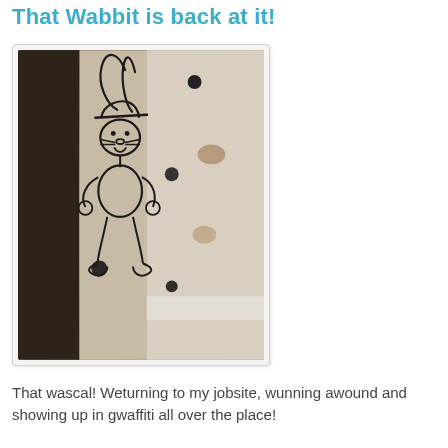That Wabbit is back at it!
[Figure (photo): Photo of a wall corner with a cartoon rabbit (Bugs Bunny style) drawn in graffiti on it, with several dark bolt holes or screw holes visible on the beige/cream wall surface. The left side of the image shows a darker brown door or frame edge.]
That wascal! Weturning to my jobsite, wunning awound and showing up in gwaffiti all over the place!